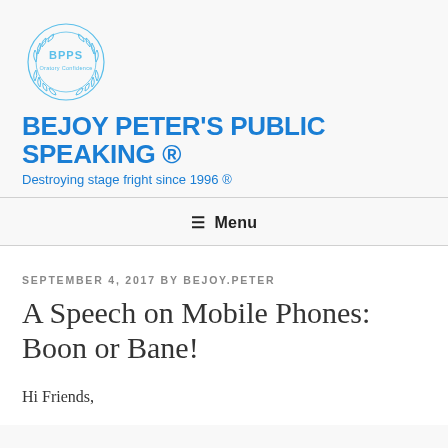[Figure (logo): BPPS circular laurel wreath logo in light blue]
BEJOY PETER'S PUBLIC SPEAKING ®
Destroying stage fright since 1996 ®
☰ Menu
SEPTEMBER 4, 2017 BY BEJOY.PETER
A Speech on Mobile Phones: Boon or Bane!
Hi Friends,